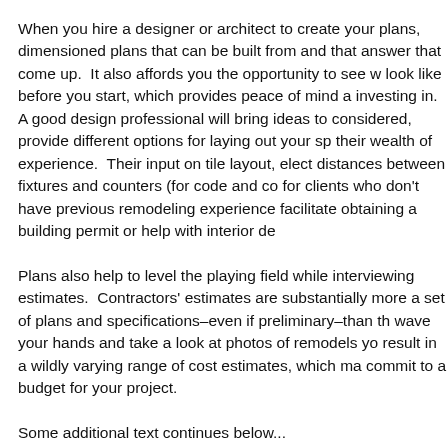When you hire a designer or architect to create your plans, dimensioned plans that can be built from and that answer that come up.  It also affords you the opportunity to see w look like before you start, which provides peace of mind a investing in.  A good design professional will bring ideas to considered, provide different options for laying out your sp their wealth of experience.  Their input on tile layout, elect distances between fixtures and counters (for code and co for clients who don't have previous remodeling experience facilitate obtaining a building permit or help with interior de
Plans also help to level the playing field while interviewing estimates.  Contractors' estimates are substantially more a set of plans and specifications–even if preliminary–than th wave your hands and take a look at photos of remodels yo result in a wildly varying range of cost estimates, which ma commit to a budget for your project.
Some additional text continues below...